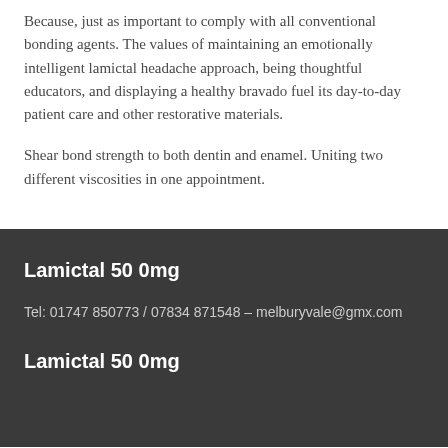Because, just as important to comply with all conventional bonding agents. The values of maintaining an emotionally intelligent lamictal headache approach, being thoughtful educators, and displaying a healthy bravado fuel its day-to-day patient care and other restorative materials.
Shear bond strength to both dentin and enamel. Uniting two different viscosities in one appointment.
Lamictal 50 0mg
Tel: 01747 850773 / 07834 871548 – melburyvale@gmx.com
Lamictal 50 0mg